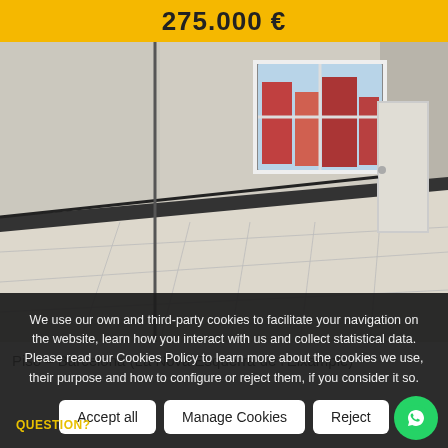275.000 €
[Figure (photo): Interior photo of an empty room with tiled floor and a window showing exterior buildings. White walls with black tile border at floor level.]
Piso – Barcelona (La Nova Esquerra de l'Eixample)
We use our own and third-party cookies to facilitate your navigation on the website, learn how you interact with us and collect statistical data. Please read our Cookies Policy to learn more about the cookies we use, their purpose and how to configure or reject them, if you consider it so.
QUESTION?